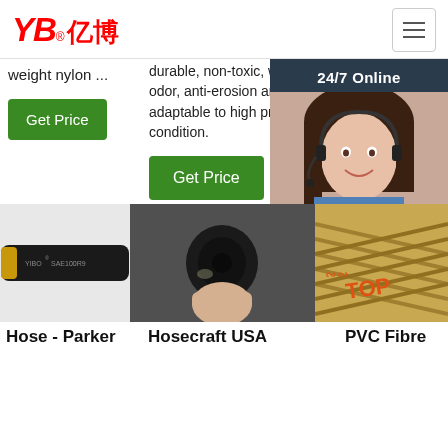[Figure (logo): YB亿博 logo in red italic text with registered trademark symbol]
weight nylon ...
durable, non-toxic, without odor, anti-erosion and adaptable to high pressure condition.
Mat. Travelling Blo... Rot...
[Figure (photo): 24/7 Online chat popup with a female customer service representative wearing a headset]
Get Price
Get Price
Get Price
Click here for free chat !
QUOTATION
[Figure (photo): Black hydraulic hose labeled YIBO SAE100R9]
[Figure (photo): Close-up of a person holding a black hose end]
[Figure (photo): Braided PVC fibre hose with TOP label in orange]
Hose - Parker
Hosecraft USA
PVC Fibre